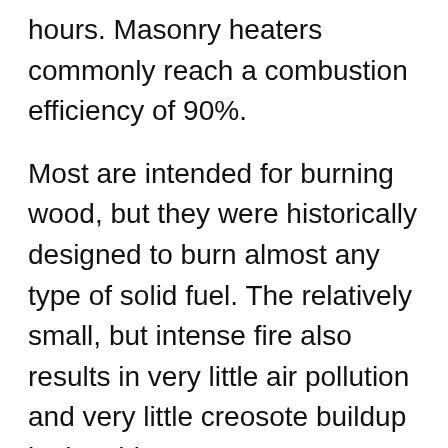hours. Masonry heaters commonly reach a combustion efficiency of 90%.
Most are intended for burning wood, but they were historically designed to burn almost any type of solid fuel. The relatively small, but intense fire also results in very little air pollution and very little creosote buildup in the chimney. Because most of the heat from the fuel is transferred to the masonry and slowly released into the room over the day, this type of heater does not need to be loaded with fuel as often as other types of wood heating appliances. In addition, if the masonry heater is built where sunlight can directly shine on it in the winter, the heater will absorb the sun's heat and release it slowly into the room.
A wide variety of masonry heater designs and styles are available. Larger models resemble